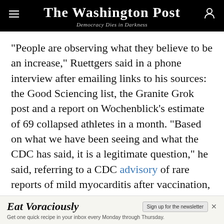The Washington Post — Democracy Dies in Darkness
“People are observing what they believe to be an increase,” Ruettgers said in a phone interview after emailing links to his sources: the Good Sciencing list, the Granite Grok post and a report on Wochenblick’s estimate of 69 collapsed athletes in a month. “Based on what we have been seeing and what the CDC has said, it is a legitimate question,” he said, referring to a CDC advisory of rare reports of mild myocarditis after vaccination, especially adolescent males and men under the age of 30. “I think it is a good hypothesis. Maybe something is there or it’s just our bias.” As he put it in a
[Figure (other): Advertisement banner for 'Eat Voraciously' newsletter. Text reads: 'Eat Voraciously — Sign up for the newsletter — Get one quick recipe in your inbox every Monday through Thursday.']